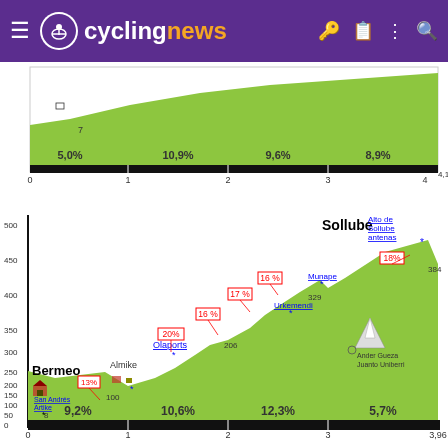[Figure (infographic): Cyclingnews website header with purple background, hamburger menu icon, cycling logo, 'cyclingnews' text in white and orange, and right-side icons]
[Figure (area-chart): Partial elevation profile chart showing gradient sections with percentages 5.0%, 10.9%, 9.6%, 8.9% and x-axis from 0 to 4.1]
[Figure (area-chart): Elevation profile of Sollube climb showing locations Bermeo, Almike, Olaports, Sollube with gradient percentages 9.2%, 10.6%, 12.3%, 5.7% and point annotations 13%, 20%, 16%, 17%, 16%, 18%. Y-axis 0-500m, x-axis 0-3.96km]